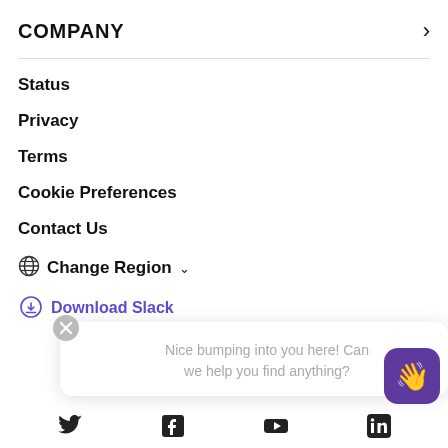COMPANY
Status
Privacy
Terms
Cookie Preferences
Contact Us
Change Region
Download Slack
Nice bumping into you here! Can we help you find anything?
[Figure (screenshot): Social media icons row at bottom: Twitter, Facebook, YouTube, LinkedIn]